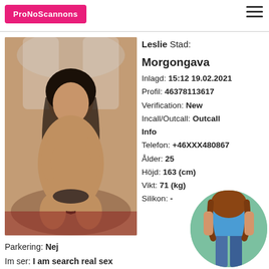ProNoScannons
[Figure (photo): Profile photo of woman posing on bed]
Leslie Stad: Morgongava
Inlagd: 15:12 19.02.2021
Profil: 46378113617
Verification: New
Incall/Outcall: Outcall
Info
Telefon: +46XXX480867
Ålder: 25
Höjd: 163 (cm)
Vikt: 71 (kg)
Silikon: -
[Figure (photo): Thumbnail circular photo of woman in blue top and jeans]
Parkering: Nej
Im ser: I am search real sex
Hobby: Reading, listening, surfing the net &